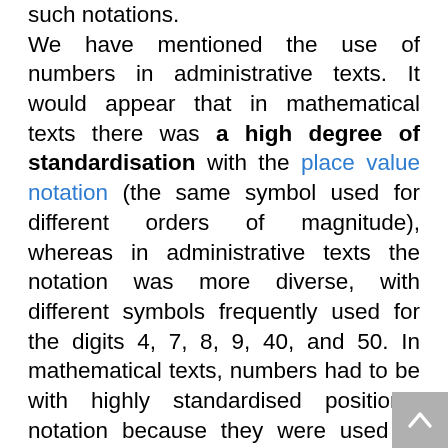such notations. We have mentioned the use of numbers in administrative texts. It would appear that in mathematical texts there was a high degree of standardisation with the place value notation (the same symbol used for different orders of magnitude), whereas in administrative texts the notation was more diverse, with different symbols frequently used for the digits 4, 7, 8, 9, 40, and 50. In mathematical texts, numbers had to be with highly standardised positional notation because they were used in algorithms, whereas in administrative